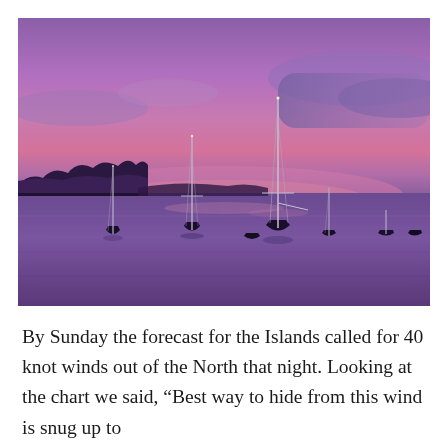[Figure (photo): A twilight/sunset harbor scene with several sailboats and motorboats silhouetted against a vivid purple and pink sky. The water reflects the purple hues. A dark treeline is visible on the left shore.]
By Sunday the forecast for the Islands called for 40 knot winds out of the North that night. Looking at the chart we said, “Best way to hide from this wind is snug up to